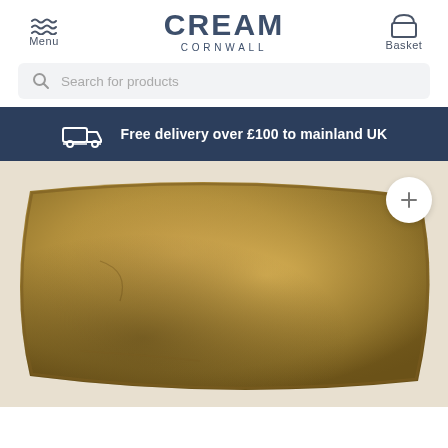Menu | CREAM CORNWALL | Basket
Search for products
Free delivery over £100 to mainland UK
[Figure (photo): A mustard/olive green velvet cushion photographed close-up against a white background, with a white circular plus button overlay in the top right corner.]